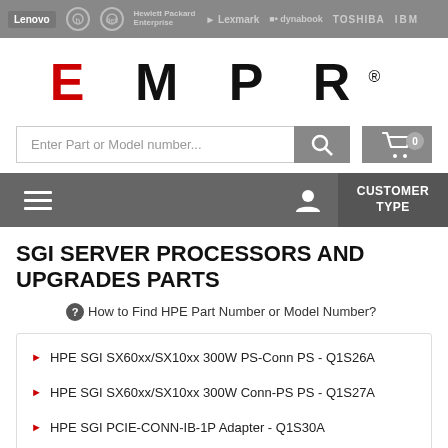[Figure (logo): Top brand bar with partner logos: Lenovo, HP, Dell, Hewlett Packard Enterprise, Lexmark, Dynabook, Toshiba, IBM]
[Figure (logo): EMPR company logo in large bold text with red E letter and registered trademark symbol]
[Figure (screenshot): Search bar with 'Enter Part or Model number...' placeholder, search button, and shopping cart button with 0 badge]
[Figure (screenshot): Navigation bar with hamburger menu, user icon, and CUSTOMER TYPE button]
SGI SERVER PROCESSORS AND UPGRADES PARTS
How to Find HPE Part Number or Model Number?
HPE SGI SX60xx/SX10xx 300W PS-Conn PS - Q1S26A
HPE SGI SX60xx/SX10xx 300W Conn-PS PS - Q1S27A
HPE SGI PCIE-CONN-IB-1P Adapter - Q1S30A